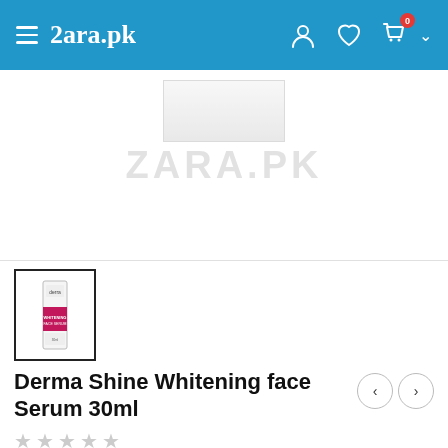Zara.pk navigation bar with hamburger menu, logo, user, wishlist, cart icons
[Figure (photo): Product hero image area showing a whitening face serum bottle with ZARA.PK watermark]
[Figure (photo): Thumbnail of Derma Shine Whitening face Serum 30ml product box]
Derma Shine Whitening face Serum 30ml
★★★★★ (star rating, all empty/grey)
Rs 800